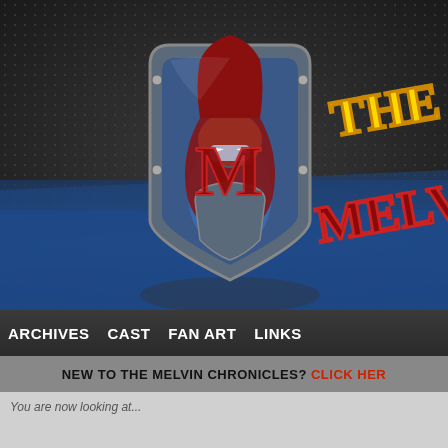[Figure (logo): The Melvin Chronicles logo: a superhero character inside a shield with a large red M, alongside yellow and red comic-style 'THE MELVIN' text]
ARCHIVES
CAST
FAN ART
LINKS
NEW TO THE MELVIN CHRONICLES? CLICK HERE
You are now looking at...